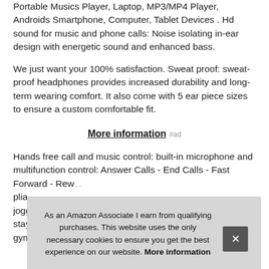Portable Musics Player, Laptop, MP3/MP4 Player, Androids Smartphone, Computer, Tablet Devices . Hd sound for music and phone calls: Noise isolating in-ear design with energetic sound and enhanced bass.
We just want your 100% satisfaction. Sweat proof: sweat-proof headphones provides increased durability and long-term wearing comfort. It also come with 5 ear piece sizes to ensure a custom comfortable fit.
More information #ad
Hands free call and music control: built-in microphone and multifunction control: Answer Calls - End Calls - Fast Forward - Rew... plia... jogg... stay... gym training.
As an Amazon Associate I earn from qualifying purchases. This website uses the only necessary cookies to ensure you get the best experience on our website. More information